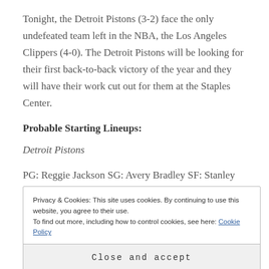Tonight, the Detroit Pistons (3-2) face the only undefeated team left in the NBA, the Los Angeles Clippers (4-0). The Detroit Pistons will be looking for their first back-to-back victory of the year and they will have their work cut out for them at the Staples Center.
Probable Starting Lineups:
Detroit Pistons
PG: Reggie Jackson SG: Avery Bradley SF: Stanley Johnson PF: Tobias Harris C: Andre Drummond
Privacy & Cookies: This site uses cookies. By continuing to use this website, you agree to their use.
To find out more, including how to control cookies, see here: Cookie Policy
Close and accept
Gallanari PF: Blake Griffin C: DeAndre Jordan